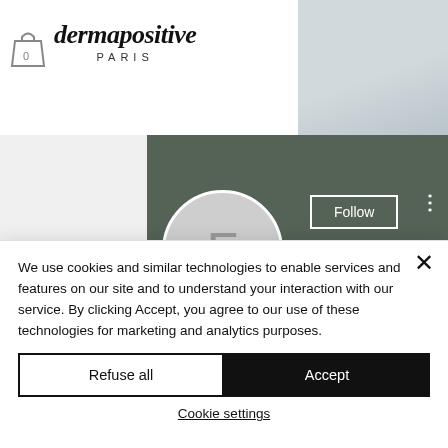[Figure (screenshot): Dermapositive Paris website header with logo, shopping bag icon, and hamburger menu]
[Figure (screenshot): User profile page with green banner, avatar circle with letter F, Follow button, and username fAmous And PostyAshikArA]
We use cookies and similar technologies to enable services and features on our site and to understand your interaction with our service. By clicking Accept, you agree to our use of these technologies for marketing and analytics purposes.
Refuse all
Accept
Cookie settings